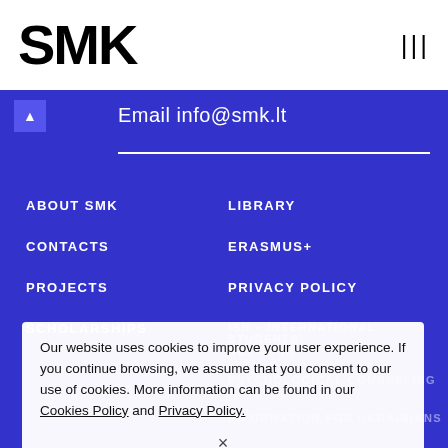SMK
Email info@smk.lt
ABOUT SMK
CONTACTS
PROJECTS
SCHOLARSHIPS
LIBRARY
ERASMUS+
PRIVACY POLICY
ISN – INTERNATIONAL STUDENTS' NETWORK
PSYCHOLOGICAL COUNSELING
INFORMATION FOR UKRAINIANS
Our website uses cookies to improve your user experience. If you continue browsing, we assume that you consent to our use of cookies. More information can be found in our Cookies Policy and Privacy Policy.
×